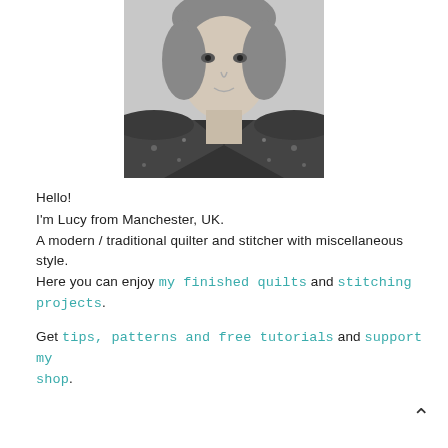[Figure (photo): Black and white portrait photo of a woman (Lucy) looking at the camera, wearing a dark patterned shirt, cropped at the top of the head.]
Hello!
I'm Lucy from Manchester, UK.
A modern / traditional quilter and stitcher with miscellaneous style.
Here you can enjoy my finished quilts and stitching projects.

Get tips, patterns and free tutorials and support my shop.